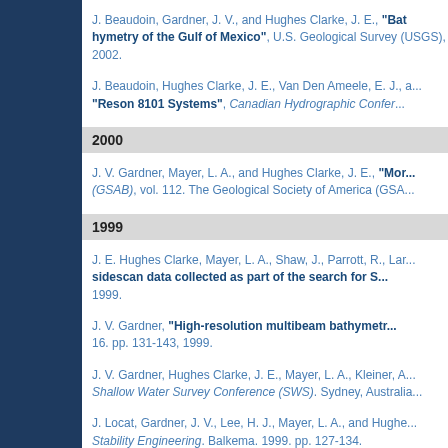J. Beaudoin, Gardner, J. V., and Hughes Clarke, J. E., "Bathymetry of the Gulf of Mexico", U.S. Geological Survey (USGS), 2002.
J. Beaudoin, Hughes Clarke, J. E., Van Den Ameele, E. J., a... "Reson 8101 Systems", Canadian Hydrographic Confer...
2000
J. V. Gardner, Mayer, L. A., and Hughes Clarke, J. E., "Mo... (GSAB), vol. 112. The Geological Society of America (GSA...
1999
J. E. Hughes Clarke, Mayer, L. A., Shaw, J., Parrott, R., La... sidescan data collected as part of the search for S... 1999.
J. V. Gardner, "High-resolution multibeam bathymetr... 16. pp. 131-143, 1999.
J. V. Gardner, Hughes Clarke, J. E., Mayer, L. A., Kleiner, A... Shallow Water Survey Conference (SWS). Sydney, Australia...
J. Locat, Gardner, J. V., Lee, H. J., Mayer, L. A., and Hughe... Stability Engineering. Balkema. 1999. pp. 127-134.